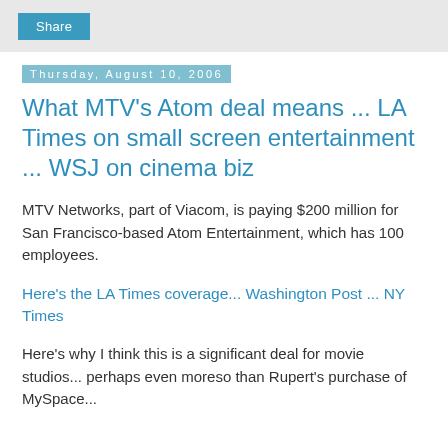Share
Thursday, August 10, 2006
What MTV's Atom deal means ... LA Times on small screen entertainment ... WSJ on cinema biz
MTV Networks, part of Viacom, is paying $200 million for San Francisco-based Atom Entertainment, which has 100 employees.
Here's the LA Times coverage... Washington Post ... NY Times
Here's why I think this is a significant deal for movie studios... perhaps even moreso than Rupert's purchase of MySpace...